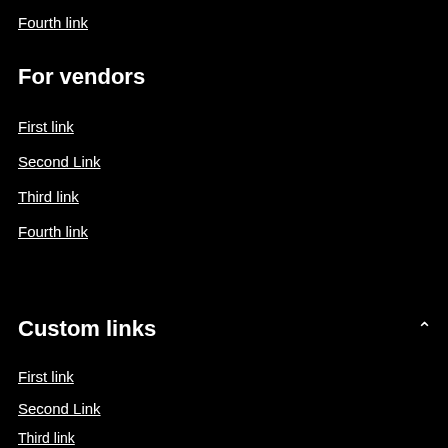Fourth link
For vendors
First link
Second Link
Third link
Fourth link
Custom links
First link
Second Link
Third link
Fourth link